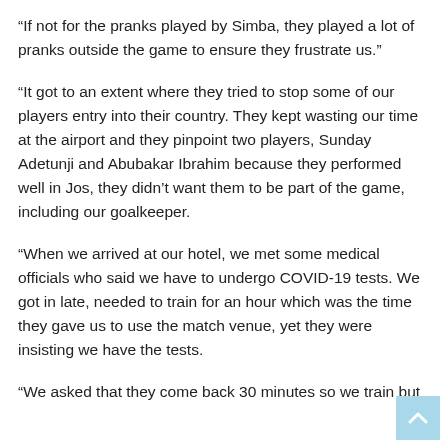“If not for the pranks played by Simba, they played a lot of pranks outside the game to ensure they frustrate us.”
“It got to an extent where they tried to stop some of our players entry into their country. They kept wasting our time at the airport and they pinpoint two players, Sunday Adetunji and Abubakar Ibrahim because they performed well in Jos, they didn’t want them to be part of the game, including our goalkeeper.
“When we arrived at our hotel, we met some medical officials who said we have to undergo COVID-19 tests. We got in late, needed to train for an hour which was the time they gave us to use the match venue, yet they were insisting we have the tests.
“We asked that they come back 30 minutes so we train but